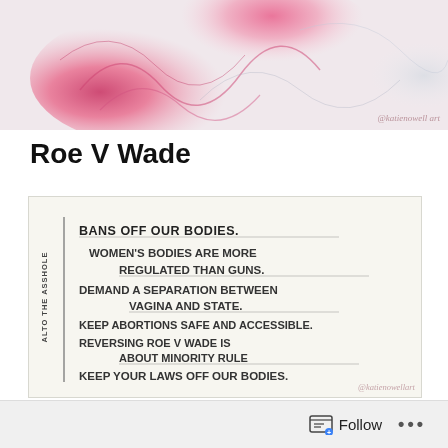[Figure (illustration): Abstract pink and grey swirling artwork with watermark @katienowell art]
Roe V Wade
[Figure (photo): Handwritten card with feminist slogans: BANS OFF OUR BODIES. WOMEN'S BODIES ARE MORE REGULATED THAN GUNS. DEMAND A SEPARATION BETWEEN VAGINA AND STATE. KEEP ABORTIONS SAFE AND ACCESSIBLE. REVERSING ROE V WADE IS ABOUT MINORITY RULE. KEEP YOUR LAWS OFF OUR BODIES. Side text reads: ALTO THE ASSHOLE. Watermark: @katienowellart]
Follow ...